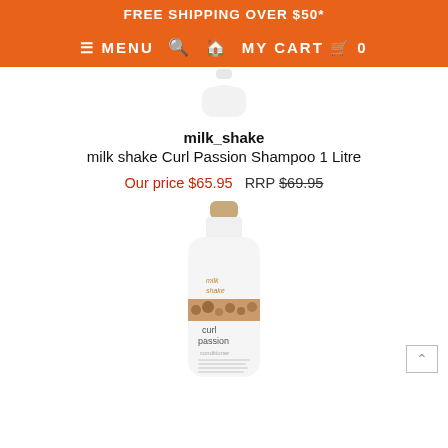FREE SHIPPING OVER $50*
≡ MENU  🔍  🏠  MY CART  🛒  0
[Figure (photo): Top portion of a white shampoo bottle]
milk_shake
milk shake Curl Passion Shampoo 1 Litre
Our price $65.95  RRP $69.95
[Figure (photo): milk_shake curl passion conditioner bottle, white with orange label showing curl passion branding and product details]